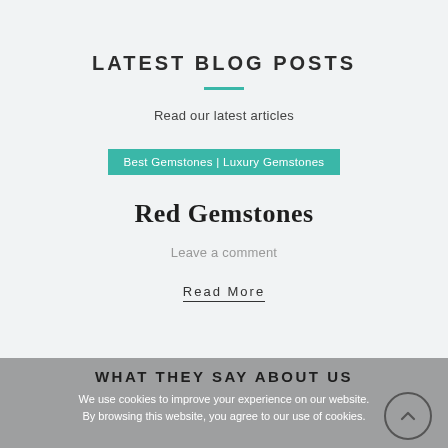LATEST BLOG POSTS
Read our latest articles
Best Gemstones | Luxury Gemstones
Red Gemstones
Leave a comment
Read More
WHAT THEY SAY ABOUT US
We use cookies to improve your experience on our website. By browsing this website, you agree to our use of cookies.